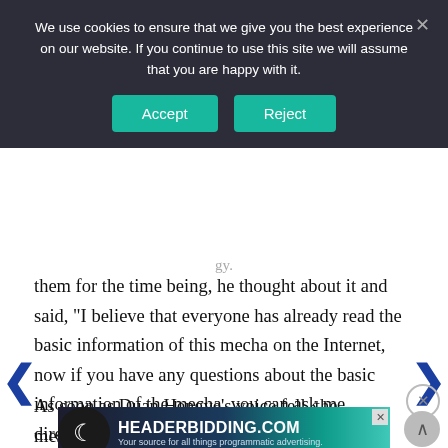[Figure (screenshot): Cookie consent banner overlay with dark background, text asking user to accept or reject cookies, with Accept and Reject buttons in teal, and a close X in top right.]
them for the time being, he thought about it and said, “I believe that everyone has already read the basic information of this mecha on the Internet, now if you have any questions about the basic information of the mecha, you can ask me directly.”
As soon as Duan Hengye’s voice fell, the message alert light on the light computer instantly lit up. S... glanced over, then Professor Duan, who had only
[Figure (screenshot): HEADERBIDDING.COM advertisement banner with teal/dark gradient background and tagline 'Your source for all things programmatic advertising.']